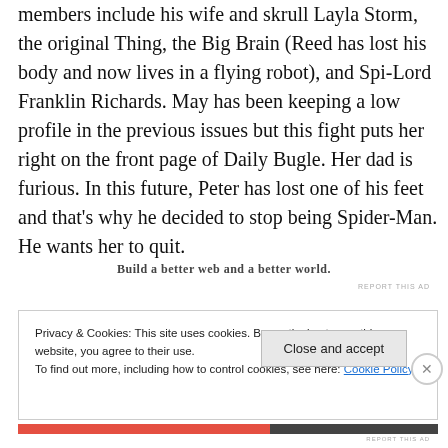members include his wife and skrull Layla Storm, the original Thing, the Big Brain (Reed has lost his body and now lives in a flying robot), and Spi-Lord Franklin Richards. May has been keeping a low profile in the previous issues but this fight puts her right on the front page of Daily Bugle. Her dad is furious. In this future, Peter has lost one of his feet and that’s why he decided to stop being Spider-Man. He wants her to quit.
Build a better web and a better world.
REPORT THIS AD
Privacy & Cookies: This site uses cookies. By continuing to use this website, you agree to their use.
To find out more, including how to control cookies, see here: Cookie Policy
Close and accept